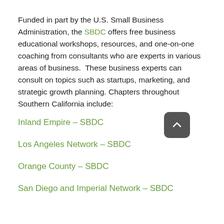Funded in part by the U.S. Small Business Administration, the SBDC offers free business educational workshops, resources, and one-on-one coaching from consultants who are experts in various areas of business.  These business experts can consult on topics such as startups, marketing, and strategic growth planning. Chapters throughout Southern California include:
Inland Empire – SBDC
Los Angeles Network – SBDC
Orange County – SBDC
San Diego and Imperial Network – SBDC